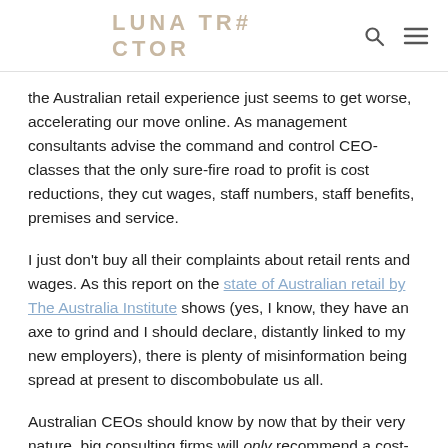LUNA TRACTOR
the Australian retail experience just seems to get worse, accelerating our move online. As management consultants advise the command and control CEO-classes that the only sure-fire road to profit is cost reductions, they cut wages, staff numbers, staff benefits, premises and service.
I just don't buy all their complaints about retail rents and wages. As this report on the state of Australian retail by The Australia Institute shows (yes, I know, they have an axe to grind and I should declare, distantly linked to my new employers), there is plenty of misinformation being spread at present to discombobulate us all.
Australian CEOs should know by now that by their very nature, big consulting firms will only recommend a cost-cutting program, since a well-known result of an ideas or innovation-based strategy is that some of the ideas won't work. Cost cutting always gets a result for a CEO, and since they're only going to be in the job 2 years, the next guy can